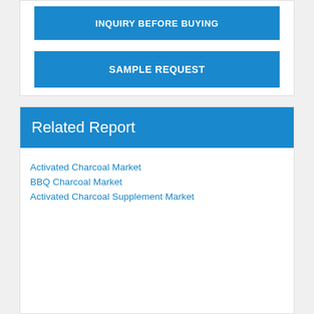INQUIRY BEFORE BUYING
SAMPLE REQUEST
Related Report
Activated Charcoal Market
BBQ Charcoal Market
Activated Charcoal Supplement Market